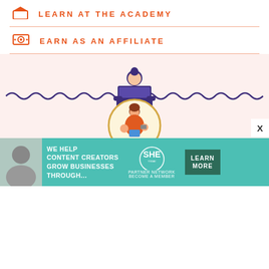LEARN AT THE ACADEMY
EARN AS AN AFFILIATE
[Figure (illustration): Person sitting at a laptop with wavy decorative lines on either side, on a pink background]
[Figure (logo): Circle logo with illustration of a woman multitasking with children and devices]
[Figure (infographic): SHE Partner Network advertisement banner: WE HELP CONTENT CREATORS GROW BUSINESSES THROUGH... with LEARN MORE button]